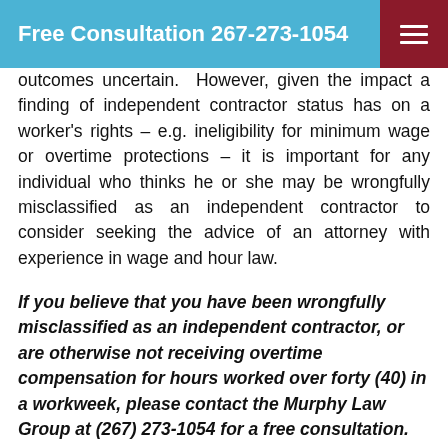Free Consultation 267-273-1054
outcomes uncertain. However, given the impact a finding of independent contractor status has on a worker's rights – e.g. ineligibility for minimum wage or overtime protections – it is important for any individual who thinks he or she may be wrongfully misclassified as an independent contractor to consider seeking the advice of an attorney with experience in wage and hour law.
If you believe that you have been wrongfully misclassified as an independent contractor, or are otherwise not receiving overtime compensation for hours worked over forty (40) in a workweek, please contact the Murphy Law Group at (267) 273-1054 for a free consultation.